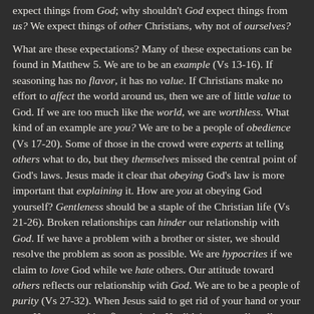expect things from God; why shouldn't God expect things from us?  We expect things of other Christians, why not of ourselves?

What are these expectations?  Many of these expectations can be found in Matthew 5.  We are to be an example (Vs 13-16).  If seasoning has no flavor, it has no value.  If Christians make no effort to affect the world around us, then we are of little value to God.  If we are too much like the world, we are worthless.  What kind of an example are you?  We are to be a people of obedience (Vs 17-20).  Some of those in the crowd were experts at telling others what to do, but they themselves missed the central point of God's laws.  Jesus made it clear that obeying God's law is more important that explaining it.  How are you at obeying God yourself?  Gentleness should be a staple of the Christian life (Vs 21-26).  Broken relationships can hinder our relationship with God.  If we have a problem with a brother or sister, we should resolve the problem as soon as possible.  We are hypocrites if we claim to love God while we hate others.  Our attitude toward others reflects our relationship with God.  We are to be a people of purity (Vs 27-32).  When Jesus said to get rid of your hand or your eye, He was speaking figuratively.  He didn't mean to literally pluck out your eye, because even a blind person can lust.  But if that were the